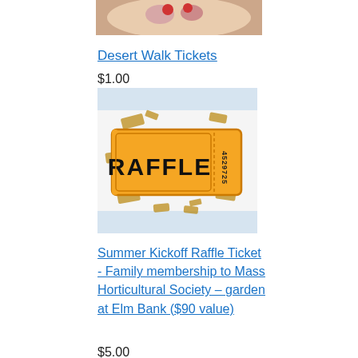[Figure (photo): Partial image of a dessert or food item at the top of the page (cropped)]
Desert Walk Tickets
$1.00
[Figure (illustration): Illustration of an orange raffle ticket with the word RAFFLE and number 4529725, surrounded by scattered ticket stubs on a light blue and white background]
Summer Kickoff Raffle Ticket - Family membership to Mass Horticultural Society – garden at Elm Bank ($90 value)
$5.00